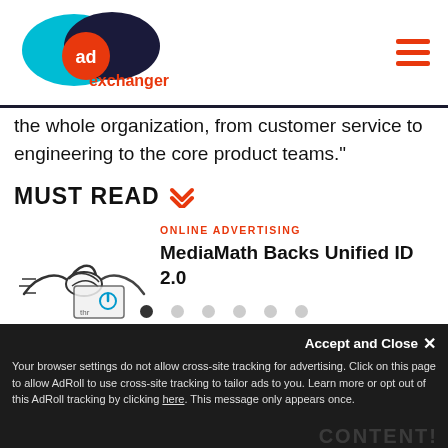[Figure (logo): AdExchanger logo: teal oval, dark navy oval, orange circle with 'ad' text, and 'exchanger' text in orange below]
the whole organization, from customer service to engineering to the core product teams."
MUST READ
ONLINE ADVERTISING
MediaMath Backs Unified ID 2.0
[Figure (illustration): Line drawing illustration of two hands shaking, with a paper/document in the background showing a power button icon]
Your browser settings do not allow cross-site tracking for advertising. Click on this page to allow AdRoll to use cross-site tracking to tailor ads to you. Learn more or opt out of this AdRoll tracking by clicking here. This message only appears once.